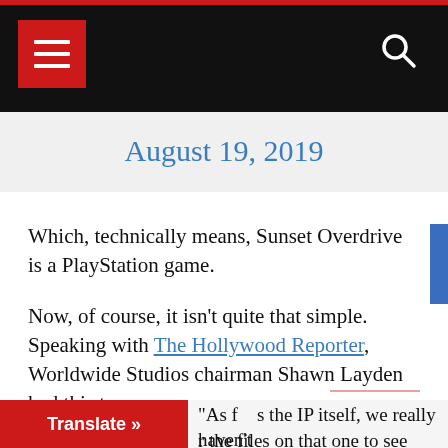August 19, 2019
Which, technically means, Sunset Overdrive is a PlayStation game.
Now, of course, it isn't quite that simple. Speaking with The Hollywood Reporter, Worldwide Studios chairman Shawn Layden had this to say;
"As f... s the IP itself, we really haven't ... r the files on that one to see what